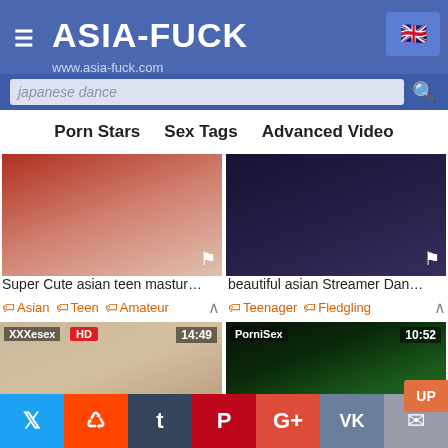ASIA-FUCK www.asia-fuck.com
japanese dance
Porn Stars   Sex Tags   Advanced Video
[Figure (screenshot): Video thumbnail - Super Cute asian teen mastur...]
Super Cute asian teen mastur...
Asian  Teen  Amateur
[Figure (screenshot): Video thumbnail - beautiful asian Streamer Dan...]
beautiful asian Streamer Dan...
Teenager  Fledgling
[Figure (screenshot): Video thumbnail HD 14:49 - Sexy asian girl]
Sexy asian girl
Teenage  Asian
[Figure (screenshot): Video thumbnail 10:52 - lubricant Danece - Mirai Yaz...]
lubricant Danece - Mirai Yaz...
Nubile  Black Haired
Twitter Reddit Tumblr Pinterest G+ VK Mail